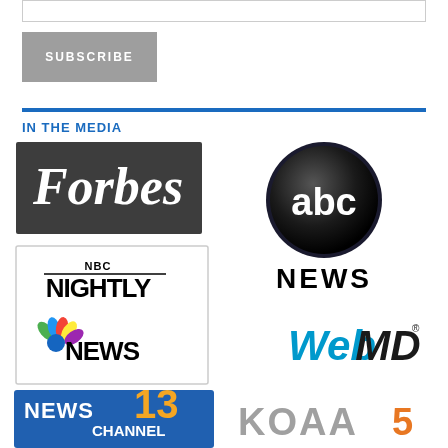[Figure (screenshot): Email subscribe input box]
[Figure (screenshot): Subscribe button in gray]
IN THE MEDIA
[Figure (logo): Forbes logo - white text on dark gray background]
[Figure (logo): ABC News logo - black and white globe with abc text and NEWS below]
[Figure (logo): NBC Nightly News logo with peacock icon]
[Figure (logo): WebMD logo in blue and black]
[Figure (logo): News Channel 13 logo partially visible]
[Figure (logo): KOAA 5 logo partially visible]